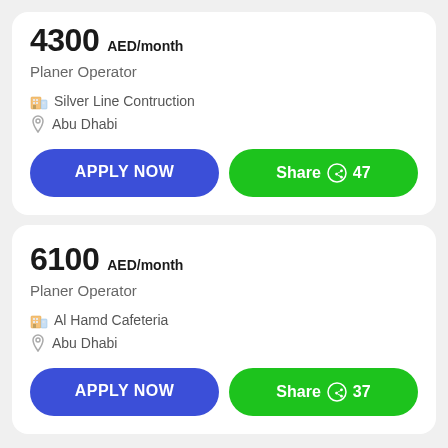4300 AED/month
Planer Operator
Silver Line Contruction
Abu Dhabi
APPLY NOW
Share 47
6100 AED/month
Planer Operator
Al Hamd Cafeteria
Abu Dhabi
APPLY NOW
Share 37